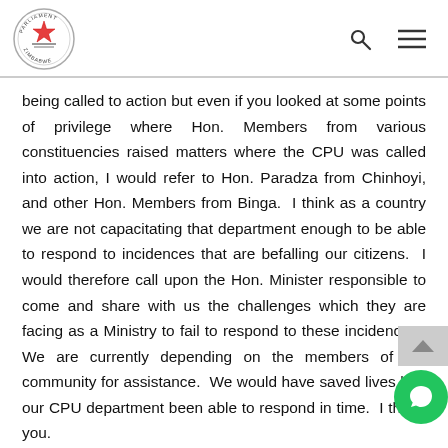Parliament of Zimbabwe logo, search icon, menu icon
being called to action but even if you looked at some points of privilege where Hon. Members from various constituencies raised matters where the CPU was called into action, I would refer to Hon. Paradza from Chinhoyi, and other Hon. Members from Binga.  I think as a country we are not capacitating that department enough to be able to respond to incidences that are befalling our citizens.  I would therefore call upon the Hon. Minister responsible to come and share with us the challenges which they are facing as a Ministry to fail to respond to these incidences.  We are currently depending on the members of the community for assistance.  We would have saved lives had our CPU department been able to respond in time.  I thank you.